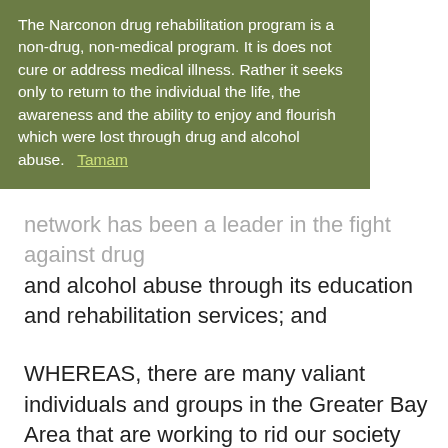The Narconon drug rehabilitation program is a non-drug, non-medical program. It is does not cure or address medical illness. Rather it seeks only to return to the individual the life, the awareness and the ability to enjoy and flourish which were lost through drug and alcohol abuse. Tamam
network has been a leader in the fight against drug and alcohol abuse through its education and rehabilitation services; and
WHEREAS, there are many valiant individuals and groups in the Greater Bay Area that are working to rid our society and the problem of alcohol and drug abuse and
WHEREAS, the activities of these individuals and groups are worthy of recognition; and
WHEREAS, Narconon of Northern California will bestow Awards of Merit to certain of these individuals